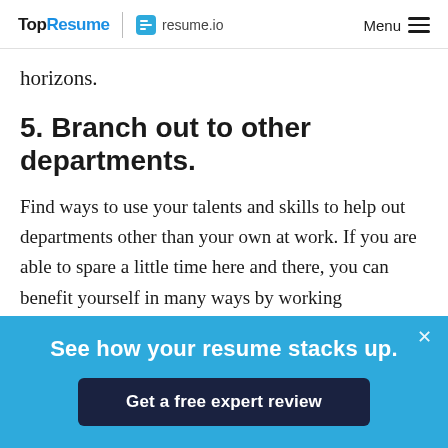TopResume | resume.io   Menu
horizons.
5. Branch out to other departments.
Find ways to use your talents and skills to help out departments other than your own at work. If you are able to spare a little time here and there, you can benefit yourself in many ways by working
See how your resume stacks up.
Get a free expert review